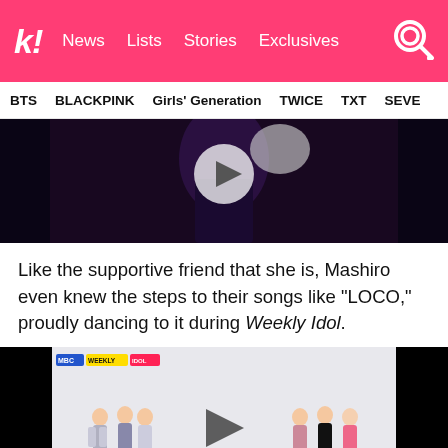kl News Lists Stories Exclusives
BTS BLACKPINK Girls' Generation TWICE TXT SEVE
[Figure (screenshot): Dark video thumbnail showing performer in black outfit with play button overlay]
Like the supportive friend that she is, Mashiro even knew the steps to their songs like “LOCO,” proudly dancing to it during Weekly Idol.
[Figure (screenshot): Weekly Idol TV show video thumbnail showing groups of female K-pop performers dancing, with play button in center]